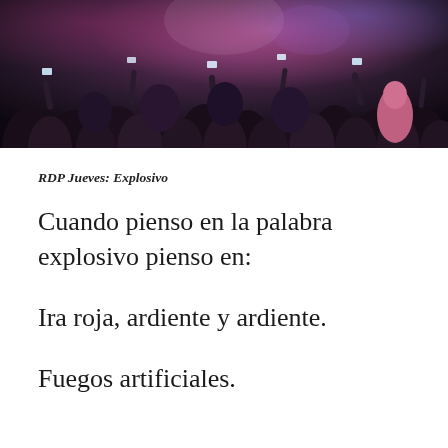[Figure (photo): Crowd of people at an event, many holding up smartphones to take photos, viewed from behind. Warm/dark tones with pink and purple highlights.]
RDP Jueves: Explosivo
Cuando pienso en la palabra explosivo pienso en:
Ira roja, ardiente y ardiente.
Fuegos artificiales.